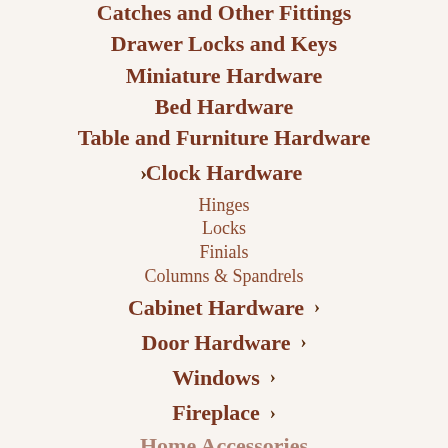Catches and Other Fittings
Drawer Locks and Keys
Miniature Hardware
Bed Hardware
Table and Furniture Hardware
› Clock Hardware
Hinges
Locks
Finials
Columns & Spandrels
Cabinet Hardware ›
Door Hardware ›
Windows ›
Fireplace ›
Home Accessories